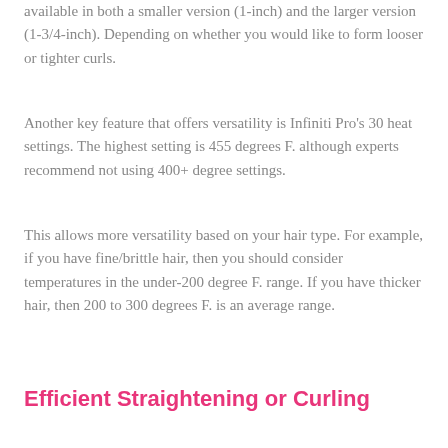available in both a smaller version (1-inch) and the larger version (1-3/4-inch). Depending on whether you would like to form looser or tighter curls.
Another key feature that offers versatility is Infiniti Pro's 30 heat settings. The highest setting is 455 degrees F. although experts recommend not using 400+ degree settings.
This allows more versatility based on your hair type. For example, if you have fine/brittle hair, then you should consider temperatures in the under-200 degree F. range. If you have thicker hair, then 200 to 300 degrees F. is an average range.
Efficient Straightening or Curling
Various features of the Infiniti Pro provide this feature. It heats up in just 15 seconds, so you can start using the unit soon after switching it on. The time you save means you can finish straightening or styling your hair faster.